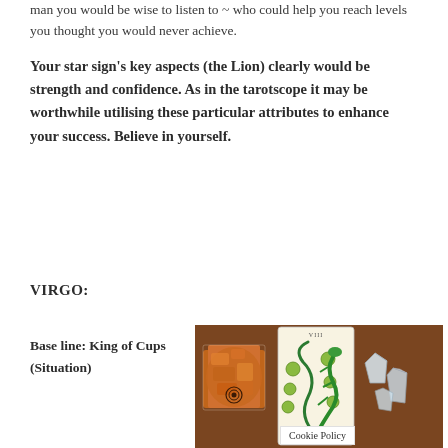man you would be wise to listen to ~ who could help you reach levels you thought you would never achieve.
Your star sign's key aspects (the Lion) clearly would be strength and confidence. As in the tarotscope it may be worthwhile utilising these particular attributes to enhance your success. Believe in yourself.
VIRGO:
Base line: King of Cups (Situation)
[Figure (photo): Photo of tarot reading setup on a brown wooden table showing an orange orgonite crystal on the left, a tarot card (VIII) with a green serpent/lizard design in the center, and clear quartz crystals on the right. A white Cookie Policy banner overlays the bottom center of the image.]